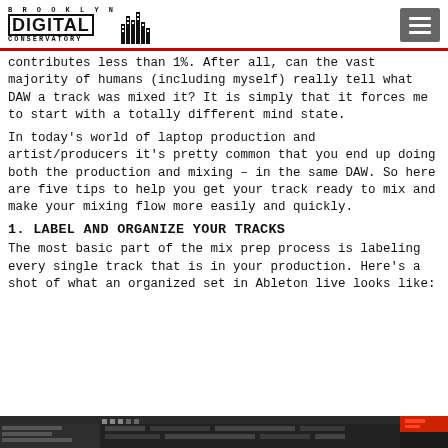Brooklyn Digital Conservatory
contributes less than 1%. After all, can the vast majority of humans (including myself) really tell what DAW a track was mixed it?  It is simply that it forces me to start with a totally different mind state.
In today's world of laptop production and artist/producers it's pretty common that you end up doing both the production and mixing – in the same DAW. So here are five tips to help you get your track ready to mix and make your mixing flow more easily and quickly.
1. LABEL AND ORGANIZE YOUR TRACKS
The most basic part of the mix prep process is labeling every single track that is in your production.  Here's a shot of what an organized set in Ableton live looks like:
[Figure (screenshot): Screenshot of an organized Ableton Live session showing labeled tracks in dark interface]